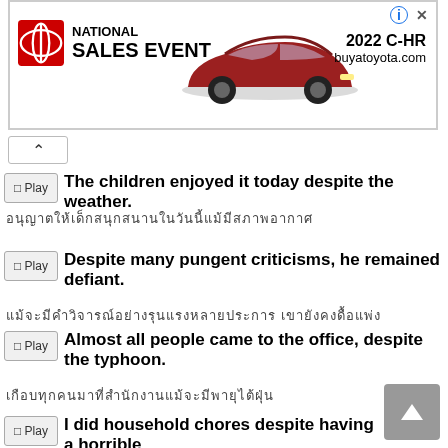[Figure (other): Toyota National Sales Event advertisement banner showing Toyota logo, a red 2022 C-HR SUV, and text '2022 C-HR buyatoyota.com']
▶ Play  The children enjoyed it today despite the weather.
[Thai translation characters]
▶ Play  Despite many pungent criticisms, he remained defiant.
[Thai translation characters]
▶ Play  Almost all people came to the office, despite the typhoon.
[Thai translation characters]
▶ Play  I did household chores despite having a horrible